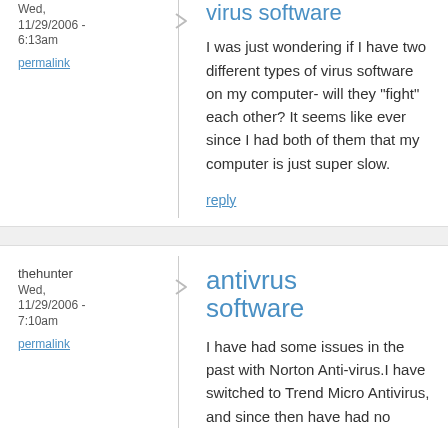Wed, 11/29/2006 - 6:13am
permalink
virus software
I was just wondering if I have two different types of virus software on my computer- will they "fight" each other? It seems like ever since I had both of them that my computer is just super slow.
reply
thehunter
Wed, 11/29/2006 - 7:10am
permalink
antivrus software
I have had some issues in the past with Norton Anti-virus.I have switched to Trend Micro Antivirus, and since then have had no